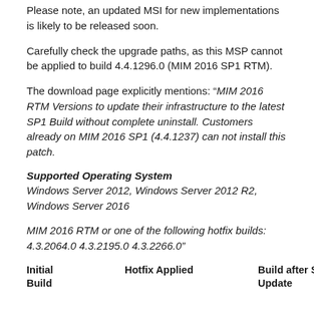Please note, an updated MSI for new implementations is likely to be released soon.
Carefully check the upgrade paths, as this MSP cannot be applied to build 4.4.1296.0 (MIM 2016 SP1 RTM).
The download page explicitly mentions: “MIM 2016 RTM Versions to update their infrastructure to the latest SP1 Build without complete uninstall. Customers already on MIM 2016 SP1 (4.4.1237) can not install this patch.
Supported Operating System
Windows Server 2012, Windows Server 2012 R2, Windows Server 2016
MIM 2016 RTM or one of the following hotfix builds: 4.3.2064.0 4.3.2195.0 4.3.2266.0”
| Initial Build | Hotfix Applied | Build after SP1 Update |
| --- | --- | --- |